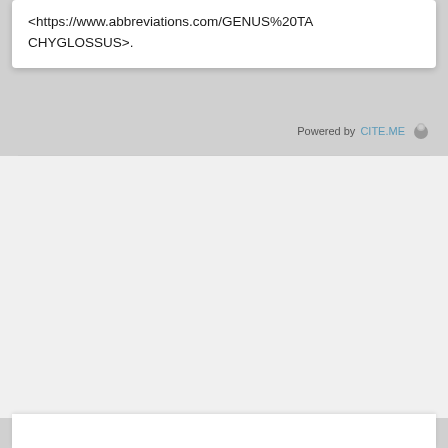<https://www.abbreviations.com/GENUS%20TACHYGLOSSUS>.
Powered by CITE.ME